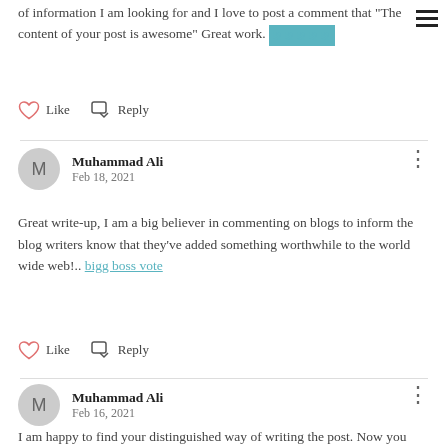of information I am looking for and I love to post a comment that "The content of your post is awesome" Great work. [redacted]
Like   Reply
Muhammad Ali
Feb 18, 2021
Great write-up, I am a big believer in commenting on blogs to inform the blog writers know that they've added something worthwhile to the world wide web!.. bigg boss vote
Like   Reply
Muhammad Ali
Feb 16, 2021
I am happy to find your distinguished way of writing the post. Now you make it easy for me to understand and implement the